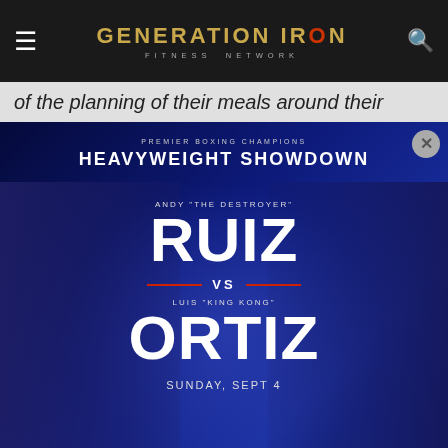GENERATION IRON FITNESS NETWORK
of the planning of their meals around their
[Figure (photo): Boxing advertisement: Heavyweight Showdown - Andy 'The Destroyer' Ruiz vs Luis 'King Kong' Ortiz, Sunday Sept 4. Live on FITE. Premier Boxing Champions.]
PRE-ORDER PPV HERE!
CLOSE
[Figure (photo): Ulta Beauty cosmetics advertisement strip showing lipstick, makeup brush, close-up eyes, Ulta Beauty logo, and Shop Now button]